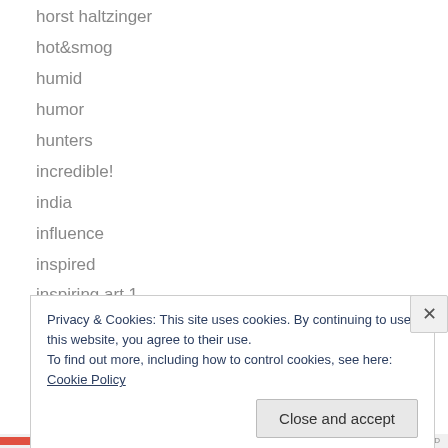horst haltzinger
hot&smog
humid
humor
hunters
incredible!
india
influence
inspired
inspiring art 1
inspiring art 2
inspiring art 3
inspiring art 4
interest
Privacy & Cookies: This site uses cookies. By continuing to use this website, you agree to their use. To find out more, including how to control cookies, see here: Cookie Policy
Close and accept